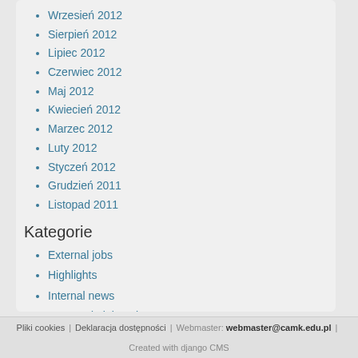Wrzesień 2012
Sierpień 2012
Lipiec 2012
Czerwiec 2012
Maj 2012
Kwiecień 2012
Marzec 2012
Luty 2012
Styczeń 2012
Grudzień 2011
Listopad 2011
Kategorie
External jobs
Highlights
Internal news
Administrative
Lectures
News
Projects
Athena
Przetargi
Pliki cookies | Deklaracja dostępności | Webmaster: webmaster@camk.edu.pl | Created with django CMS